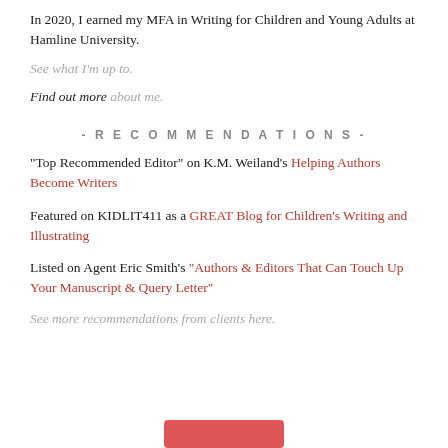In 2020, I earned my MFA in Writing for Children and Young Adults at Hamline University.
See what I'm up to.
Find out more about me.
- RECOMMENDATIONS -
“Top Recommended Editor” on K.M. Weiland’s Helping Authors Become Writers
Featured on KIDLIT411 as a GREAT Blog for Children’s Writing and Illustrating
Listed on Agent Eric Smith’s “Authors & Editors That Can Touch Up Your Manuscript & Query Letter”
See more recommendations from clients here.